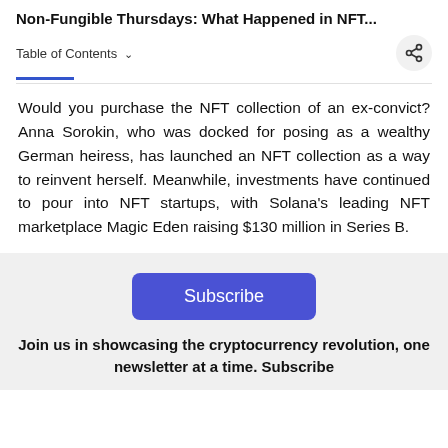Non-Fungible Thursdays: What Happened in NFT...
Table of Contents ∨
Would you purchase the NFT collection of an ex-convict? Anna Sorokin, who was docked for posing as a wealthy German heiress, has launched an NFT collection as a way to reinvent herself. Meanwhile, investments have continued to pour into NFT startups, with Solana's leading NFT marketplace Magic Eden raising $130 million in Series B.
Subscribe
Join us in showcasing the cryptocurrency revolution, one newsletter at a time. Subscribe